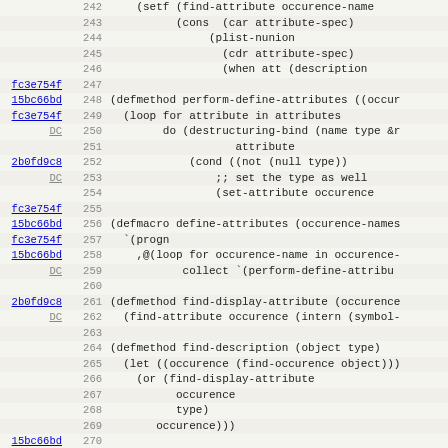[Figure (screenshot): Source code diff/blame view showing Lisp/Common Lisp code with line numbers 242-274, commit hashes on the left side (fc3e754f, 15bc66bd, 2b0fd9c8, ebabbd23, 6f63d3a4), and code content including defmethod and defmacro definitions for attribute handling functions.]